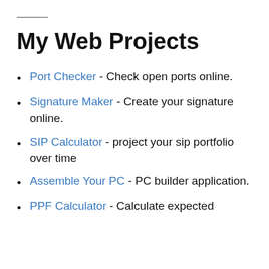My Web Projects
Port Checker - Check open ports online.
Signature Maker - Create your signature online.
SIP Calculator - project your sip portfolio over time
Assemble Your PC - PC builder application.
PPF Calculator - Calculate expected